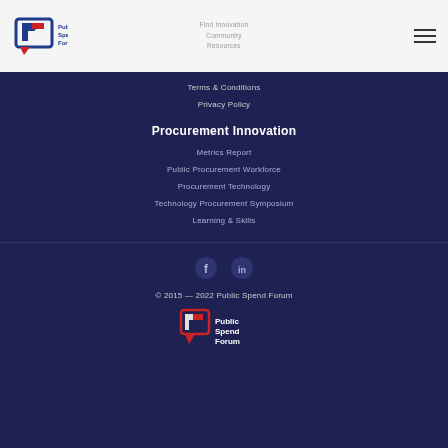[Figure (logo): Public Spend Forum logo - top left, light background header]
Find Innovation
Community
Resources
Terms & Conditions
Privacy Policy
Procurement Innovation
Metrics Report
Public Procurement Workforce
Procurement Technology
Technology Procurement Symposium
Learning & Skills
[Figure (other): Social media icons: Facebook (f) and LinkedIn (in)]
© 2015 — 2022 Public Spend Forum
[Figure (logo): Public Spend Forum logo - bottom center, dark background]